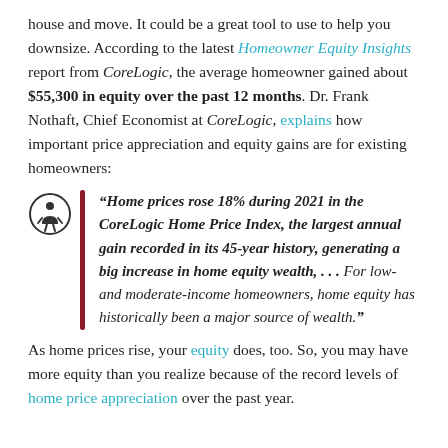house and move. It could be a great tool to use to help you downsize. According to the latest Homeowner Equity Insights report from CoreLogic, the average homeowner gained about $55,300 in equity over the past 12 months. Dr. Frank Nothaft, Chief Economist at CoreLogic, explains how important price appreciation and equity gains are for existing homeowners:
“Home prices rose 18% during 2021 in the CoreLogic Home Price Index, the largest annual gain recorded in its 45-year history, generating a big increase in home equity wealth, . . . For low- and moderate-income homeowners, home equity has historically been a major source of wealth.”
As home prices rise, your equity does, too. So, you may have more equity than you realize because of the record levels of home price appreciation over the past year.